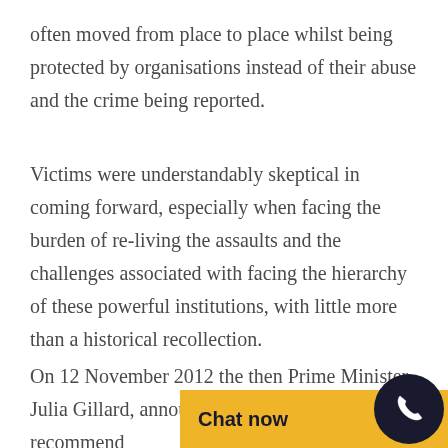often moved from place to place whilst being protected by organisations instead of their abuse and the crime being reported.
Victims were understandably skeptical in coming forward, especially when facing the burden of re-living the assaults and the challenges associated with facing the hierarchy of these powerful institutions, with little more than a historical recollection.
On 12 November 2012 the then Prime Minister Julia Gillard, announced that she would recommend a